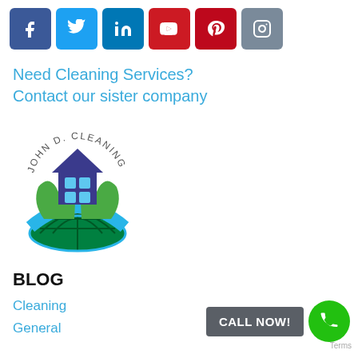[Figure (other): Social media icon buttons: Facebook (blue), Twitter (light blue), LinkedIn (blue), YouTube (red), Pinterest (red), Instagram (grey-blue)]
Need Cleaning Services?
Contact our sister company
[Figure (logo): John D. Cleaning logo: circular text 'JOHN D. CLEANING' around a house held by green hands above a blue and green globe]
BLOG
Cleaning
General